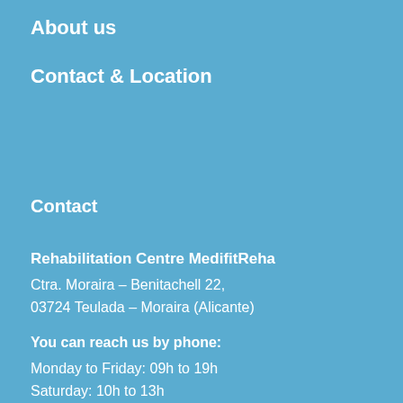About us
Contact & Location
Contact
Rehabilitation Centre MedifitReha
Ctra. Moraira – Benitachell 22,
03724 Teulada – Moraira (Alicante)
You can reach us by phone:
Monday to Friday: 09h to 19h
Saturday: 10h to 13h